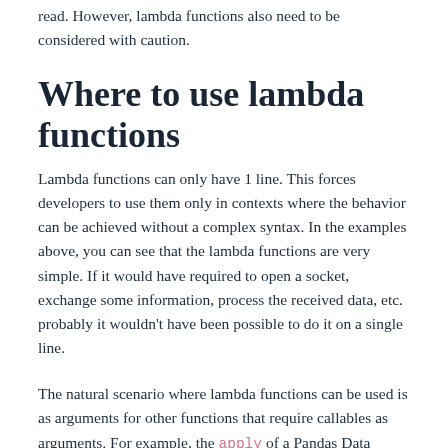read. However, lambda functions also need to be considered with caution.
Where to use lambda functions
Lambda functions can only have 1 line. This forces developers to use them only in contexts where the behavior can be achieved without a complex syntax. In the examples above, you can see that the lambda functions are very simple. If it would have required to open a socket, exchange some information, process the received data, etc. probably it wouldn't have been possible to do it on a single line.
The natural scenario where lambda functions can be used is as arguments for other functions that require callables as arguments. For example, the apply of a Pandas Data Frame requires a function as an argument. Connecting signals in Qt also requires a function. If the